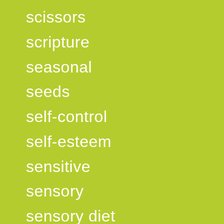scissors
scripture
seasonal
seeds
self-control
self-esteem
sensitive
sensory
sensory diet